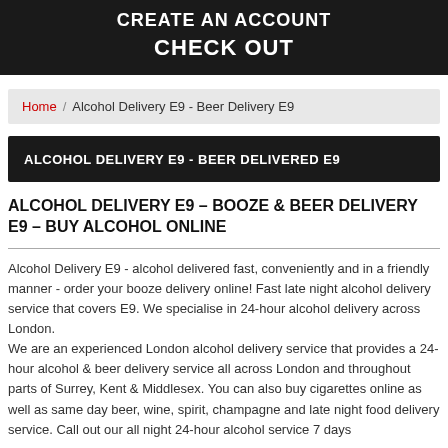CREATE AN ACCOUNT
CHECK OUT
Home / Alcohol Delivery E9 - Beer Delivery E9
ALCOHOL DELIVERY E9 - BEER DELIVERED E9
ALCOHOL DELIVERY E9 - BOOZE & BEER DELIVERY E9 - BUY ALCOHOL ONLINE
Alcohol Delivery E9 - alcohol delivered fast, conveniently and in a friendly manner - order your booze delivery online! Fast late night alcohol delivery service that covers E9. We specialise in 24-hour alcohol delivery across London.
We are an experienced London alcohol delivery service that provides a 24-hour alcohol & beer delivery service all across London and throughout parts of Surrey, Kent & Middlesex. You can also buy cigarettes online as well as same day beer, wine, spirit, champagne and late night food delivery service. Call out our all night 24-hour alcohol service 7 days...